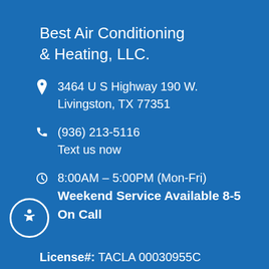Best Air Conditioning & Heating, LLC.
3464 U S Highway 190 W. Livingston, TX 77351
(936) 213-5116
Text us now
8:00AM – 5:00PM (Mon-Fri)
Weekend Service Available 8-5
On Call
License#: TACLA 00030955C